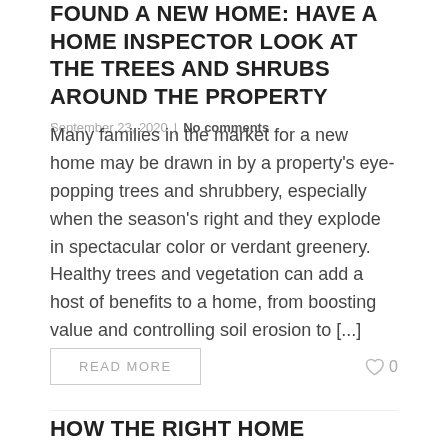FOUND A NEW HOME: HAVE A HOME INSPECTOR LOOK AT THE TREES AND SHRUBS AROUND THE PROPERTY
September 23, 2020  |  No comments
Many families in the market for a new home may be drawn in by a property's eye-popping trees and shrubbery, especially when the season's right and they explode in spectacular color or verdant greenery. Healthy trees and vegetation can add a host of benefits to a home, from boosting value and controlling soil erosion to [...]
READ MORE
HOW THE RIGHT HOME INSPECTOR CAN PLAY AN IMPORTANT ROLE IN MAINTAINING YOUR HOME